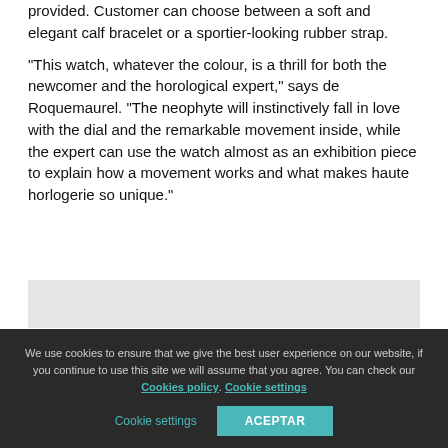provided. Customer can choose between a soft and elegant calf bracelet or a sportier-looking rubber strap.
“This watch, whatever the colour, is a thrill for both the newcomer and the horological expert,” says de Roquemaurel. “The neophyte will instinctively fall in love with the dial and the remarkable movement inside, while the expert can use the watch almost as an exhibition piece to explain how a movement works and what makes haute horlogerie so unique.”
[Figure (other): Gray placeholder box for an image]
We use cookies to ensure that we give the best user experience on our website, if you continue to use this site we will assume that you agree. You can check our Cookies policy. Cookie settings. ACEPTAR